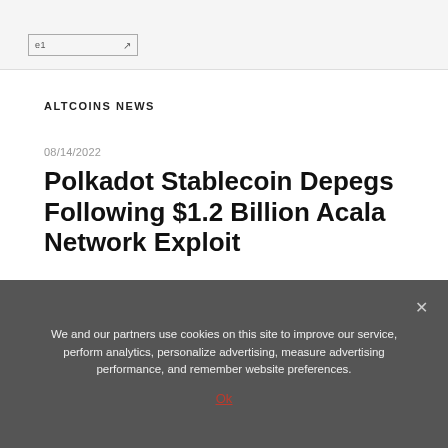e1
ALTCOINS NEWS
08/14/2022
Polkadot Stablecoin Depegs Following $1.2 Billion Acala Network Exploit
We and our partners use cookies on this site to improve our service, perform analytics, personalize advertising, measure advertising performance, and remember website preferences.
Ok